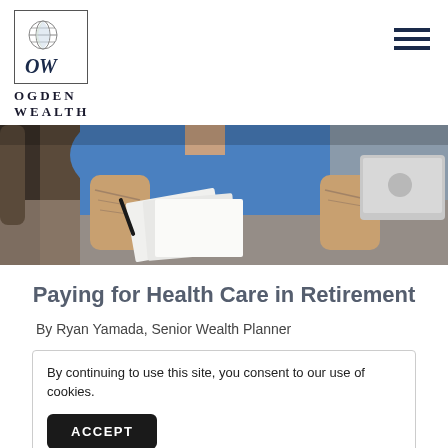[Figure (logo): Ogden Wealth logo: globe icon above stylized OW letters, in a square border, with OGDEN WEALTH text below]
[Figure (photo): A person in a blue shirt with tattooed arms sitting at a desk reviewing paper documents with a laptop open nearby]
Paying for Health Care in Retirement
By Ryan Yamada, Senior Wealth Planner
By continuing to use this site, you consent to our use of cookies.